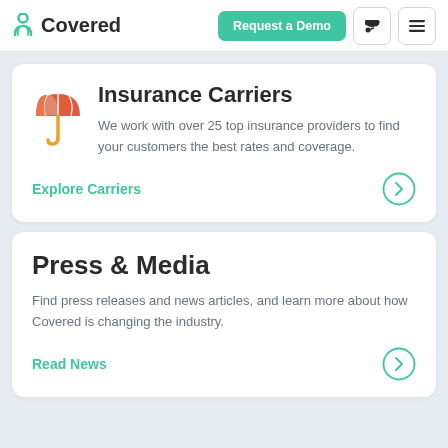Covered — Request a Demo
[Figure (illustration): Umbrella icon — red/orange canopy with yellow handle]
Insurance Carriers
We work with over 25 top insurance providers to find your customers the best rates and coverage.
Explore Carriers
Press & Media
Find press releases and news articles, and learn more about how Covered is changing the industry.
Read News